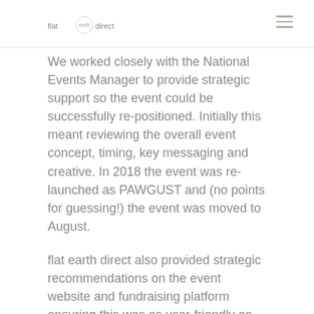flat earth direct
We worked closely with the National Events Manager to provide strategic support so the event could be successfully re-positioned. Initially this meant reviewing the overall event concept, timing, key messaging and creative. In 2018 the event was re-launched as PAWGUST and (no points for guessing!) the event was moved to August.
flat earth direct also provided strategic recommendations on the event website and fundraising platform ensuring this was as user-friendly as possible and enabling